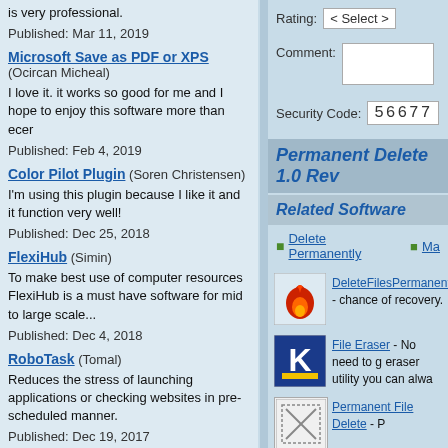is very professional.
Published: Mar 11, 2019
Microsoft Save as PDF or XPS (Ocircan Micheal)
I love it. it works so good for me and I hope to enjoy this software more than ecer
Published: Feb 4, 2019
Color Pilot Plugin (Soren Christensen)
I'm using this plugin because I like it and it function very well!
Published: Dec 25, 2018
FlexiHub (Simin)
To make best use of computer resources FlexiHub is a must have software for mid to large scale...
Published: Dec 4, 2018
RoboTask (Tomal)
Reduces the stress of launching applications or checking websites in pre-scheduled manner.
Published: Dec 19, 2017
Rating: < Select >
Comment:
Security Code: 56677
Permanent Delete 1.0 Rev
Related Software
Delete Permanently
DeleteFilesPermanently - chance of recovery.
File Eraser - No need to g eraser utility you can alwa
Permanent File Delete - P
Delete File - Files and fol managed.
FileKancellator - FileKan